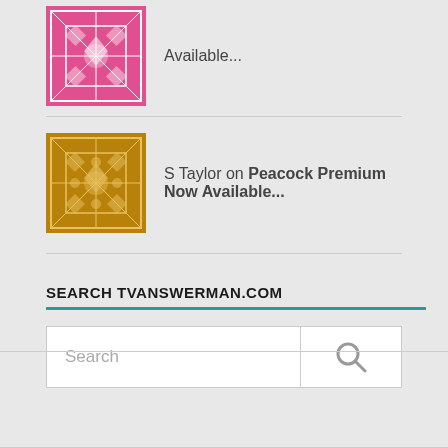[Figure (illustration): Pink decorative quilted pattern avatar icon]
Available...
[Figure (illustration): Gold/brown decorative quilted pattern avatar icon]
S Taylor on Peacock Premium Now Available...
SEARCH TVANSWERMAN.COM
Search